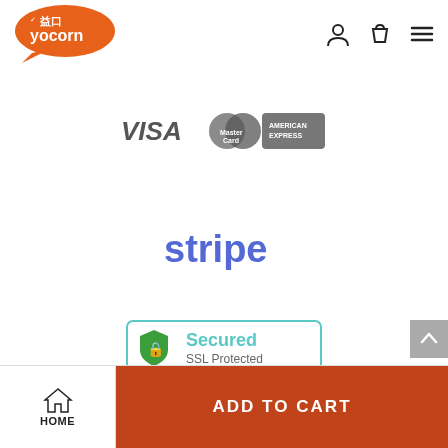[Figure (logo): Yocorn logo - orange speech bubble with Chinese characters and 'yocorn' text in white]
[Figure (infographic): Navigation icons: user/person icon, shopping bag icon, hamburger menu icon]
[Figure (logo): Payment method logos: VISA, MasterCard, American Express]
[Figure (logo): Stripe payment logo in dark blue/indigo]
[Figure (logo): Secured SSL Protected badge with green shield icon and teal border]
Terms of Service | Privacy Policy
[Figure (infographic): Scroll to top button (grey arrow up)]
HOME | ADD TO CART